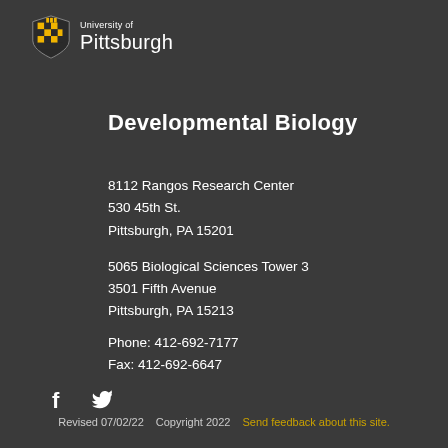[Figure (logo): University of Pittsburgh shield logo with text 'University of Pittsburgh']
Developmental Biology
8112 Rangos Research Center
530 45th St.
Pittsburgh, PA 15201

5065 Biological Sciences Tower 3
3501 Fifth Avenue
Pittsburgh, PA 15213
Phone: 412-692-7177
Fax: 412-692-6647
[Figure (illustration): Facebook and Twitter social media icons]
Revised 07/02/22    Copyright 2022    Send feedback about this site.